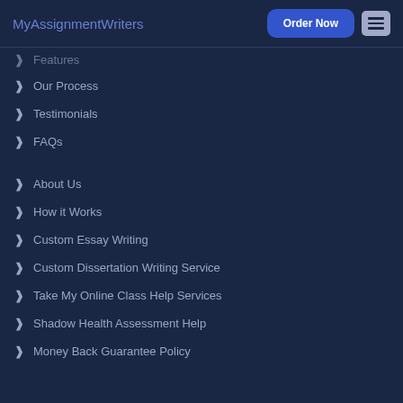MyAssignmentWriters | Order Now
Features
Our Process
Testimonials
FAQs
About Us
How it Works
Custom Essay Writing
Custom Dissertation Writing Service
Take My Online Class Help Services
Shadow Health Assessment Help
Money Back Guarantee Policy